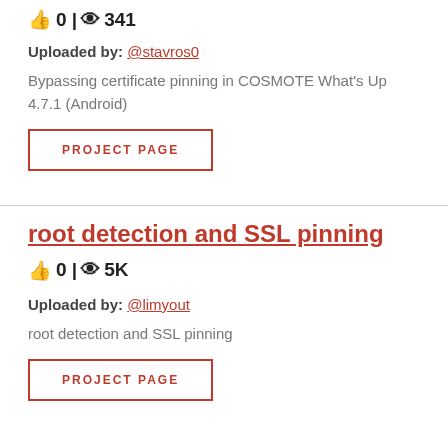0 | 341
Uploaded by: @stavros0
Bypassing certificate pinning in COSMOTE What's Up 4.7.1 (Android)
PROJECT PAGE
root detection and SSL pinning
0 | 5K
Uploaded by: @limyout
root detection and SSL pinning
PROJECT PAGE